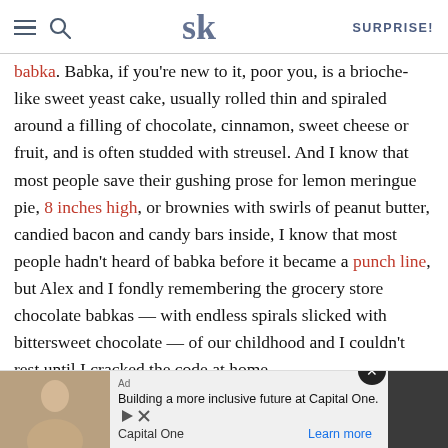SK - Surprise!
babka. Babka, if you're new to it, poor you, is a brioche-like sweet yeast cake, usually rolled thin and spiraled around a filling of chocolate, cinnamon, sweet cheese or fruit, and is often studded with streusel. And I know that most people save their gushing prose for lemon meringue pie, 8 inches high, or brownies with swirls of peanut butter, candied bacon and candy bars inside, I know that most people hadn't heard of babka before it became a punch line, but Alex and I fondly remembering the grocery store chocolate babkas — with endless spirals slicked with bittersweet chocolate — of our childhood and I couldn't rest until I cracked the code at home.
[Figure (screenshot): Advertisement bar: Capital One ad with image of woman, text 'Building a more inclusive future at Capital One. Capital One. Learn more' with close button.]